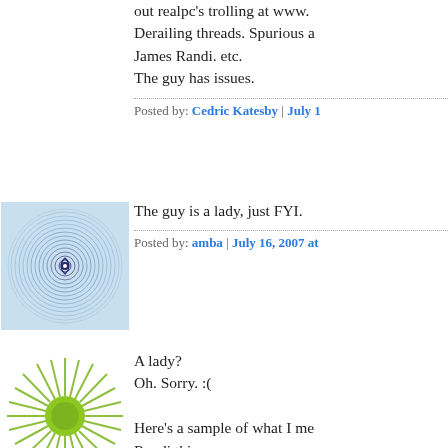out realpc's trolling at www. Derailing threads. Spurious a James Randi. etc.
The guy has issues.
Posted by: Cedric Katesby | July 1
[Figure (illustration): Avatar icon with concentric circular pattern on light blue background]
The guy is a lady, just FYI.
Posted by: amba | July 16, 2007 at
[Figure (illustration): Avatar icon with sunburst/dandelion pattern in green and white]
A lady?
Oh. Sorry. :(

Here's a sample of what I me Randi thing.
She never did answer.
(Despite mutiple drive-by troll www.pandasthumb.org/archi

"Realpc,

You said in a previous thread "Yes Randi has debunked a